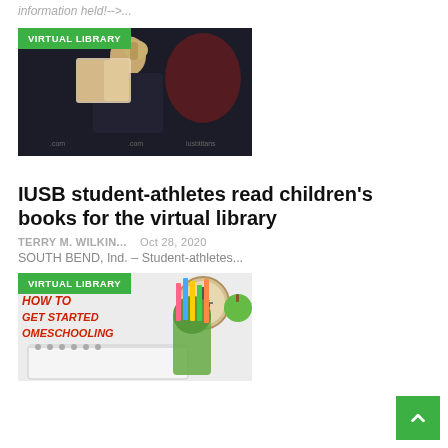information held!-->...
[Figure (photo): Student athlete reading a children's book, dark background with Titans logo, VIRTUAL LIBRARY badge overlay]
IUSB student-athletes read children's books for the virtual library
TERRY M. WILKIN...    Oct 28, 2020
SOUTH BEND, Ind. – Student-athletes...
[Figure (photo): Homeschooling 101 - How to Get Started Homeschooling graphic with colorful pencils and school supplies, VIRTUAL LIBRARY badge overlay]